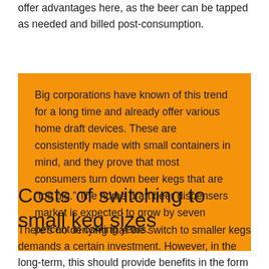offer advantages here, as the beer can be tapped as needed and billed post-consumption.
Big corporations have known of this trend for a long time and already offer various home draft devices. These are consistently made with small containers in mind, and they prove that most consumers turn down beer kegs that are “too big.” The home draft beer dispensers market is expected to grow by seven percent in coming years.
Costs of switching to small keg sizes
There’s no denying that the switch to smaller kegs demands a certain investment. However, in the long-term, this should provide benefits in the form of improved beer quality. Draft beer sales is an important market segment for many breweries